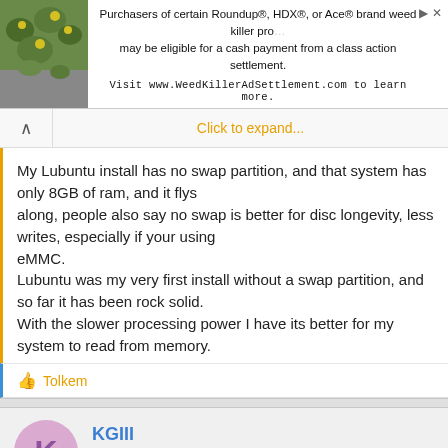[Figure (screenshot): Advertisement banner for Roundup/HDX/Ace weed killer class action settlement with plant image on left]
Click to expand...
My Lubuntu install has no swap partition, and that system has only 8GB of ram, and it flys along, people also say no swap is better for disc longevity, less writes, especially if your using eMMC.
Lubuntu was my very first install without a swap partition, and so far it has been rock solid.
With the slower processing power I have its better for my system to read from memory.
Tolkem
KGIII
Super Moderator  Staff member  Gold Supporter
May 25, 2022  #26